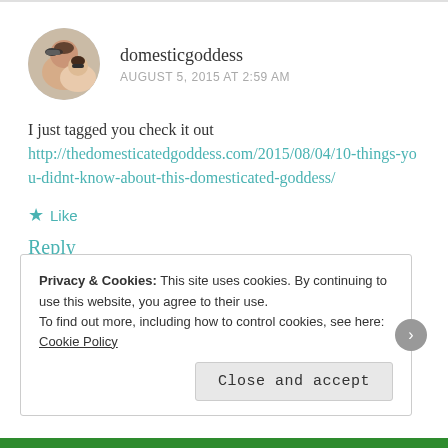[Figure (photo): Circular avatar photo of two people, woman with sunglasses and child]
domesticgoddess
AUGUST 5, 2015 AT 2:59 AM
I just tagged you check it out http://thedomesticatedgoddess.com/2015/08/04/10-things-you-didnt-know-about-this-domesticated-goddess/
★ Like
Reply
Privacy & Cookies: This site uses cookies. By continuing to use this website, you agree to their use.
To find out more, including how to control cookies, see here: Cookie Policy
Close and accept